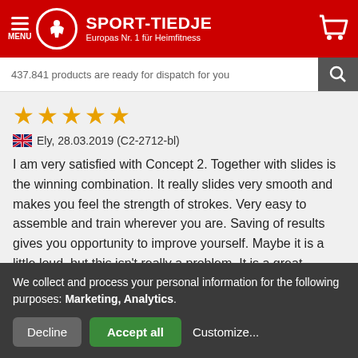SPORT-TIEDJE – Europas Nr. 1 für Heimfitness
437.841 products are ready for dispatch for you
[Figure (other): Five gold stars rating]
Ely, 28.03.2019 (C2-2712-bl)
I am very satisfied with Concept 2. Together with slides is the winning combination. It really slides very smooth and makes you feel the strength of strokes. Very easy to assemble and train wherever you are. Saving of results gives you opportunity to improve yourself. Maybe it is a little loud, but this isn't really a problem. It is a great decision to buy it as a rower or just as an
We collect and process your personal information for the following purposes: Marketing, Analytics.
Decline | Accept all | Customize...